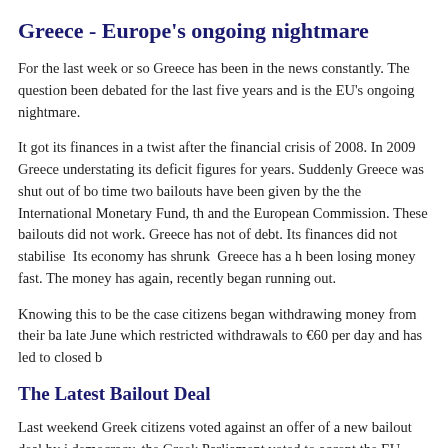Greece - Europe's ongoing nightmare
For the last week or so Greece has been in the news constantly. The question been debated for the last five years and is the EU's ongoing nightmare.
It got its finances in a twist after the financial crisis of 2008. In 2009 Greece understating its deficit figures for years. Suddenly Greece was shut out of bo time two bailouts have been given by the the International Monetary Fund, th and the European Commission. These bailouts did not work. Greece has not of debt. Its finances did not stabilise  Its economy has shrunk  Greece has a h been losing money fast. The money has again, recently began running out.
Knowing this to be the case citizens began withdrawing money from their ba late June which restricted withdrawals to €60 per day and has led to closed b
The Latest Bailout Deal
Last weekend Greek citizens voted against an offer of a new bailout deal by i democracy, the Greek Parliament voted to accept the EU bailout program - th writing this the bailout will still need final approval from the Eurozone finan whether Greece will indeed be spared from going bust.